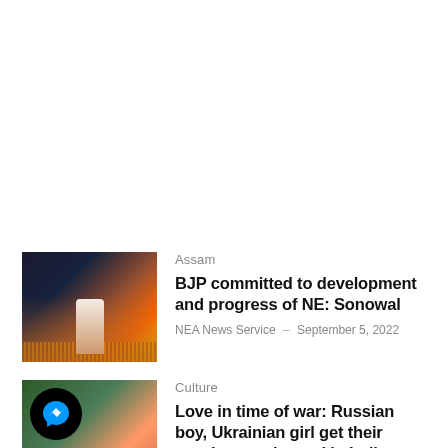[Figure (photo): Photo of a speaker on stage addressing a large crowd at an indoor venue]
Assam
BJP committed to development and progress of NE: Sonowal
NEA News Service – September 5, 2022
[Figure (photo): Photo of people in traditional attire with a Messenger app icon overlay]
Culture
Love in time of war: Russian boy, Ukrainian girl get their marriage registered in India